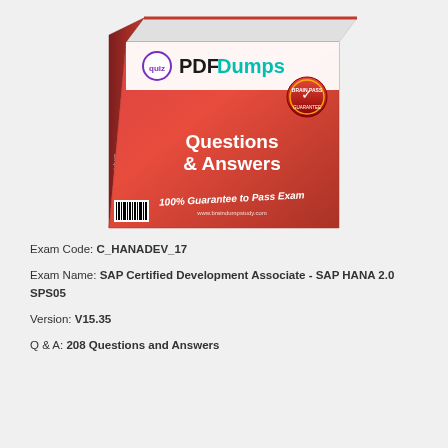[Figure (illustration): PDFDumps product box showing a pink/red exam prep book with 'Questions & Answers' text, '100% Guarantee to Pass Exam' tagline, and the PDFDumps logo at top.]
Exam Code: C_HANADEV_17
Exam Name: SAP Certified Development Associate - SAP HANA 2.0 SPS05
Version: V15.35
Q & A: 208 Questions and Answers